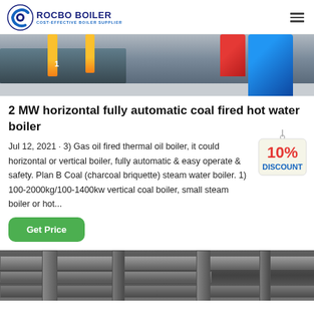ROCBO BOILER - COST-EFFECTIVE BOILER SUPPLIER
[Figure (photo): Industrial boiler equipment photo showing yellow pipes, blue and red drums in a factory setting]
2 MW horizontal fully automatic coal fired hot water boiler
Jul 12, 2021 · 3) Gas oil fired thermal oil boiler, it could horizontal or vertical boiler, fully automatic & easy operate & safety. Plan B Coal (charcoal briquette) steam water boiler. 1) 100-2000kg/100-1400kw vertical coal boiler, small steam boiler or hot...
[Figure (photo): Industrial ductwork/piping ceiling photo in grey tones]